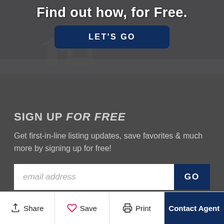Find out how, for Free.
LET'S GO
SIGN UP FOR FREE
Get first-in-line listing updates, save favorites & much more by signing up for free!
email address
GO
Share
Save
Print
Contact Agent